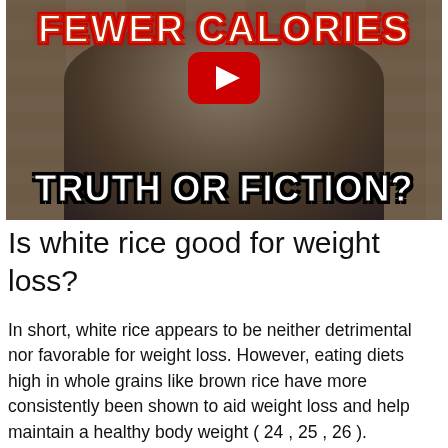[Figure (screenshot): YouTube video thumbnail showing a muscular man holding a bowl of white rice, with text 'FEWER CALORIES' at top and 'TRUTH OR FICTION?' at bottom, YouTube play button in center. Stone wall background.]
Is white rice good for weight loss?
In short, white rice appears to be neither detrimental nor favorable for weight loss. However, eating diets high in whole grains like brown rice have more consistently been shown to aid weight loss and help maintain a healthy body weight ( 24 , 25 , 26 ).